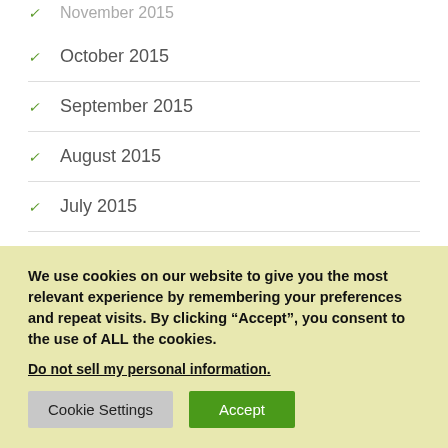October 2015
September 2015
August 2015
July 2015
June 2015
We use cookies on our website to give you the most relevant experience by remembering your preferences and repeat visits. By clicking “Accept”, you consent to the use of ALL the cookies.
Do not sell my personal information.
Cookie Settings | Accept